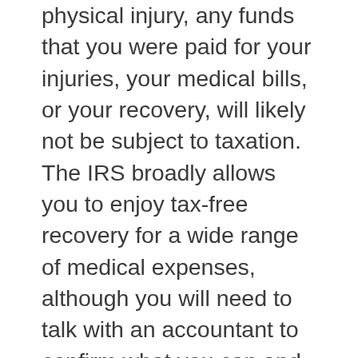physical injury, any funds that you were paid for your injuries, your medical bills, or your recovery, will likely not be subject to taxation. The IRS broadly allows you to enjoy tax-free recovery for a wide range of medical expenses, although you will need to talk with an accountant to confirm what you can and cannot claim is exempt.
Notably, under the tax code, tax-exempt funds must be related to physical injuries rather than emotional ones. So if you have sued for emotional distress or symptoms related to your emotional distress that do not originate from a physical injury or physical sickness, the tax code states that